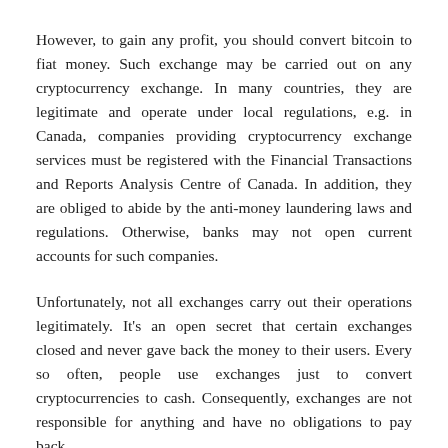However, to gain any profit, you should convert bitcoin to fiat money. Such exchange may be carried out on any cryptocurrency exchange. In many countries, they are legitimate and operate under local regulations, e.g. in Canada, companies providing cryptocurrency exchange services must be registered with the Financial Transactions and Reports Analysis Centre of Canada. In addition, they are obliged to abide by the anti-money laundering laws and regulations. Otherwise, banks may not open current accounts for such companies.
Unfortunately, not all exchanges carry out their operations legitimately. It's an open secret that certain exchanges closed and never gave back the money to their users. Every so often, people use exchanges just to convert cryptocurrencies to cash. Consequently, exchanges are not responsible for anything and have no obligations to pay back